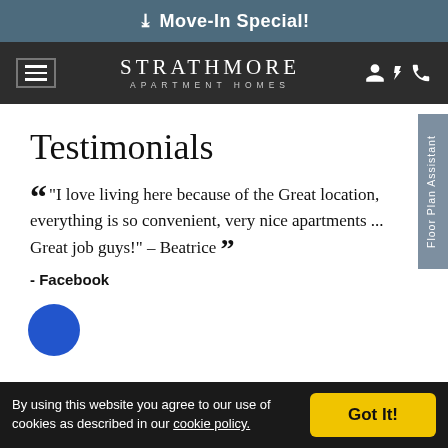Move-In Special!
[Figure (logo): Strathmore Apartment Homes logo with hamburger menu icon on left and user/phone icons on right, on dark navbar]
Testimonials
“I love living here because of the Great location, everything is so convenient, very nice apartments ... Great job guys!” – Beatrice
- Facebook
By using this website you agree to our use of cookies as described in our cookie policy.